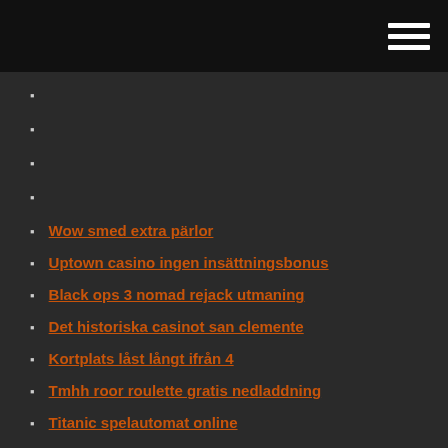Wow smed extra pärlor
Uptown casino ingen insättningsbonus
Black ops 3 nomad rejack utmaning
Det historiska casinot san clemente
Kortplats låst långt ifrån 4
Tmhh roor roulette gratis nedladdning
Titanic spelautomat online
Gratis roliga spel att spela online för tjejer
Roliga onlinespel för att spela 2 spelare ett tangentbord